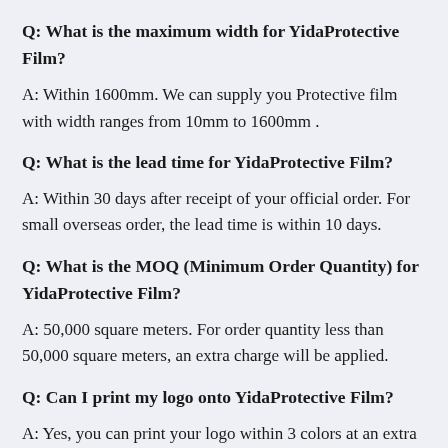Q: What is the maximum width for YidaProtective Film?
A: Within 1600mm. We can supply you Protective film with width ranges from 10mm to 1600mm .
Q: What is the lead time for YidaProtective Film?
A: Within 30 days after receipt of your official order. For small overseas order, the lead time is within 10 days.
Q: What is the MOQ (Minimum Order Quantity) for YidaProtective Film?
A: 50,000 square meters. For order quantity less than 50,000 square meters, an extra charge will be applied.
Q: Can I print my logo onto YidaProtective Film?
A: Yes, you can print your logo within 3 colors at an extra cost. To